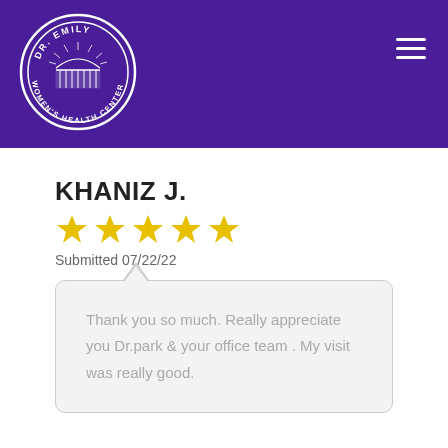[Figure (logo): Dr. Emily Women's Health Center circular logo with building/bridge illustration, white on purple background]
KHANIZ J.
[Figure (other): Five yellow star rating]
Submitted 07/22/22
Thank you so much. Really appreciate you Dr.park & your office team . My visit was really good.